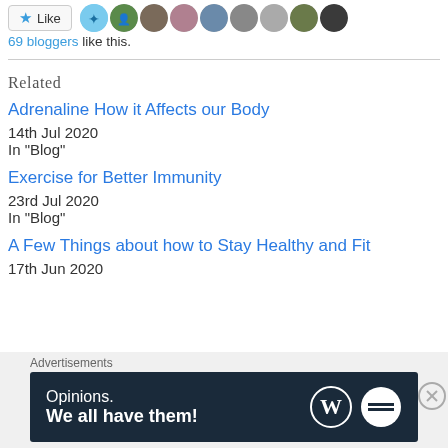[Figure (other): Like button with star icon and row of blogger avatars]
69 bloggers like this.
Related
Adrenaline How it Affects our Body
14th Jul 2020
In "Blog"
Exercise for Better Immunity
23rd Jul 2020
In "Blog"
A Few Things about how to Stay Healthy and Fit
17th Jun 2020
[Figure (other): Advertisement banner: Opinions. We all have them! with WordPress and Daily Post logos]